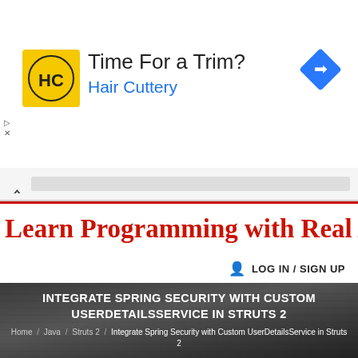[Figure (other): Advertisement banner for Hair Cuttery with logo showing HC initials on yellow background, text 'Time For a Trim?' and 'Hair Cuttery' in blue, and a blue navigation diamond icon on the right]
▷
×
[Figure (other): Collapse/minimize bar with upward chevron arrow and gray horizontal bar]
Learn Programming with Real Apps
🧑 LOG IN / SIGN UP
INTEGRATE SPRING SECURITY WITH CUSTOM USERDETAILSSERVICE IN STRUTS 2
Home / Java / Struts 2 / Integrate Spring Security with Custom UserDetailsService in Struts 2